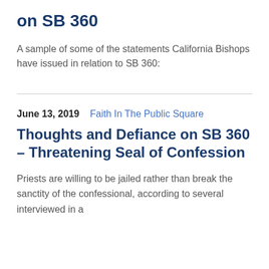on SB 360
A sample of some of the statements California Bishops have issued in relation to SB 360:
June 13, 2019   Faith In The Public Square
Thoughts and Defiance on SB 360 – Threatening Seal of Confession
Priests are willing to be jailed rather than break the sanctity of the confessional, according to several interviewed in a